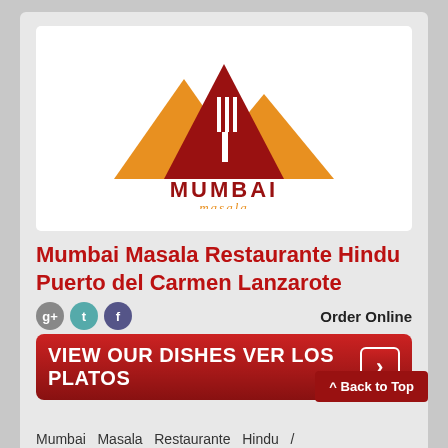[Figure (logo): Mumbai Masala restaurant logo: mountain/pyramid shapes in orange and dark red with a fork shape, text MUMBAI in dark red uppercase and masala in orange stylized script below]
Mumbai Masala Restaurante Hindu Puerto del Carmen Lanzarote
Order Online
VIEW OUR DISHES  VER LOS PLATOS  >
^ Back to Top
Mumbai  Masala  Restaurante  Hindu  /